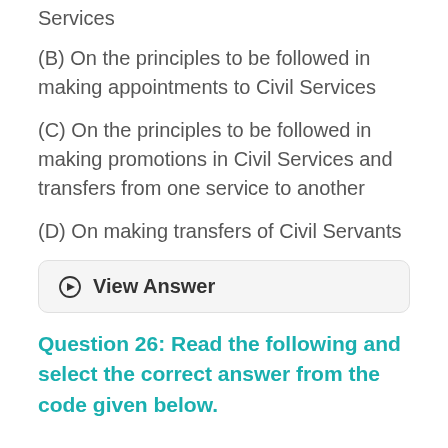Services
(B) On the principles to be followed in making appointments to Civil Services
(C) On the principles to be followed in making promotions in Civil Services and transfers from one service to another
(D) On making transfers of Civil Servants
⊙  View Answer
Question 26: Read the following and select the correct answer from the code given below.